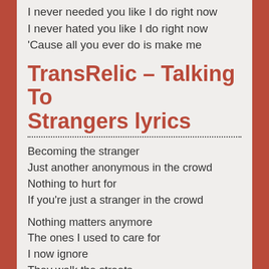I never needed you like I do right now
I never hated you like I do right now
'Cause all you ever do is make me
TransRelic – Talking To Strangers lyrics
Becoming the stranger
Just another anonymous in the crowd
Nothing to hurt for
If you're just a stranger in the crowd
Nothing matters anymore
The ones I used to care for
I now ignore
They walk the streets
Too many of them
They pass right by
And loose their names
Treading out of my life